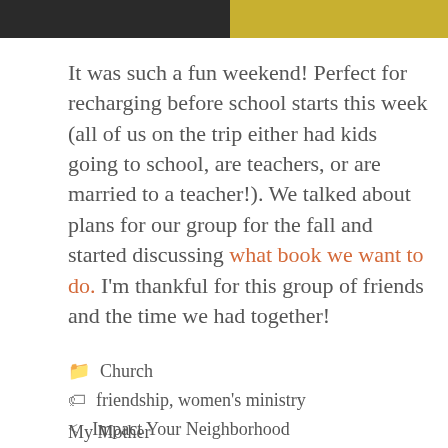[Figure (photo): Two side-by-side photos at the top of the page: left photo shows a dark scene, right photo shows a bright yellow scene]
It was such a fun weekend! Perfect for recharging before school starts this week (all of us on the trip either had kids going to school, are teachers, or are married to a teacher!). We talked about plans for our group for the fall and started discussing what book we want to do. I'm thankful for this group of friends and the time we had together!
📁 Church
🏷 friendship, women's ministry
< Impact Your Neighborhood
> On My Son's First Day of School, I Honor My Mother